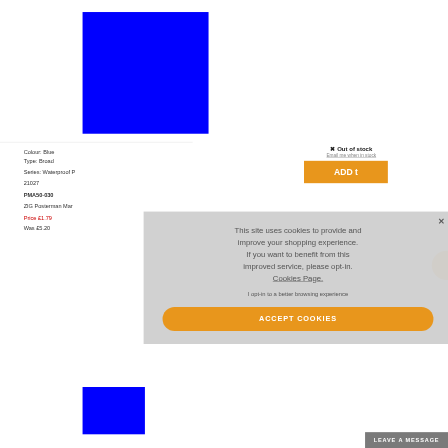[Figure (photo): Blue rectangle representing a product colour swatch for Blue marker pen]
Colour: Blue
Type: Broad
Series: Waterproof P
21027
PMA50-030
ZIG Posterman Mar
Price £1.79
Was £5.20
✕ Out of stock
Email me when in stock
ADD t
This site uses cookies to provide and improve your shopping experience. If you want to benefit from this improved service, please opt-in. Cookies Page. I opt-in to a better browsing experience
ACCEPT COOKIES
LEAVE A MESSAGE